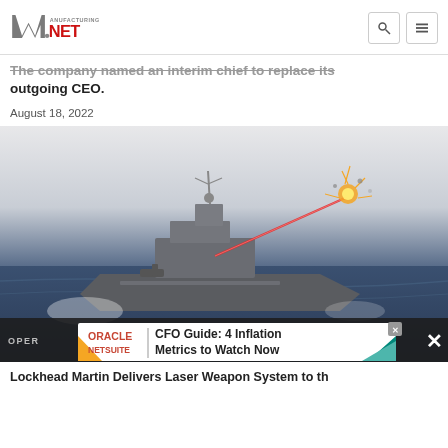Manufacturing.NET
The company named an interim chief to replace its outgoing CEO.
August 18, 2022
[Figure (photo): Aerial illustration of a US Navy destroyer firing a red laser beam at an airborne target with an explosion, sailing across blue ocean water.]
OPER
[Figure (screenshot): Oracle NetSuite advertisement banner reading: CFO Guide: 4 Inflation Metrics to Watch Now]
Lockhead Martin Delivers Laser Weapon System to th